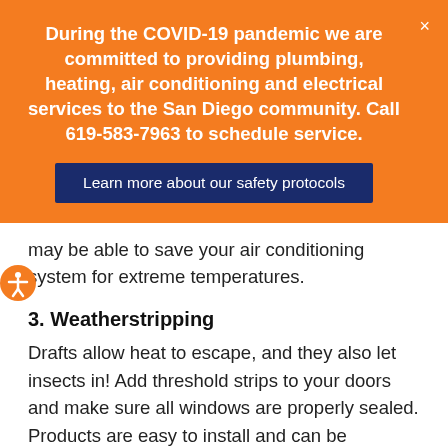During the COVID-19 pandemic we are committed to providing plumbing, heating, air conditioning and electrical services to the San Diego community. Call 619-583-7963 to schedule service.
Learn more about our safety protocols
may be able to save your air conditioning system for extreme temperatures.
3. Weatherstripping
Drafts allow heat to escape, and they also let insects in! Add threshold strips to your doors and make sure all windows are properly sealed. Products are easy to install and can be purchased at your local home store. If it's a cold night and you haven't made it to the store yet, a simple rolled towel against the